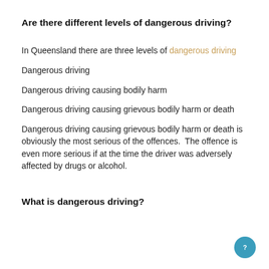Are there different levels of dangerous driving?
In Queensland there are three levels of dangerous driving
Dangerous driving
Dangerous driving causing bodily harm
Dangerous driving causing grievous bodily harm or death
Dangerous driving causing grievous bodily harm or death is obviously the most serious of the offences.  The offence is even more serious if at the time the driver was adversely affected by drugs or alcohol.
What is dangerous driving?